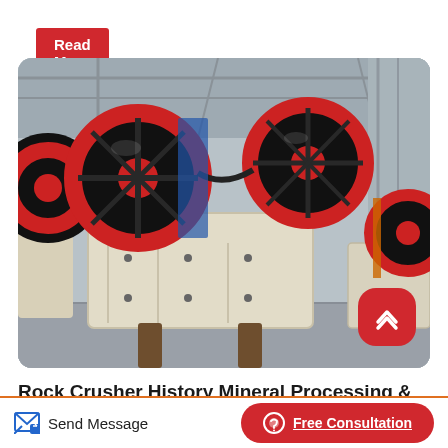Read More
[Figure (photo): Industrial jaw crusher machines with large red and black flywheels in a factory/warehouse setting. Multiple crusher units visible on a concrete floor with steel structural framework in background.]
Rock Crusher History Mineral Processing & Metallurgy
Send Message
Free Consultation